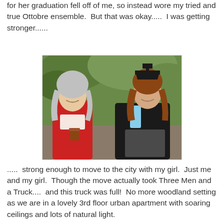for her graduation fell off of me, so instead wore my tried and true Ottobre ensemble.  But that was okay.....  I was getting stronger......
[Figure (photo): Two women smiling outdoors in front of green foliage. The woman on the left has gray hair and wears a red cardigan over a floral top, holding a coffee cup. The woman on the right wears a black graduation gown and mortarboard cap with a light blue accent, holding a diploma or folder.]
.....  strong enough to move to the city with my girl.  Just me and my girl.  Though the move actually took Three Men and a Truck....  and this truck was full!  No more woodland setting as we are in a lovely 3rd floor urban apartment with soaring ceilings and lots of natural light.